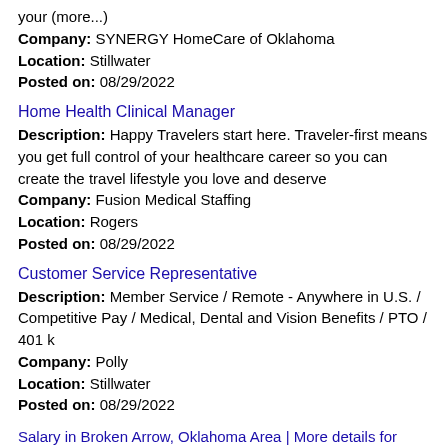your (more...)
Company: SYNERGY HomeCare of Oklahoma
Location: Stillwater
Posted on: 08/29/2022
Home Health Clinical Manager
Description: Happy Travelers start here. Traveler-first means you get full control of your healthcare career so you can create the travel lifestyle you love and deserve
Company: Fusion Medical Staffing
Location: Rogers
Posted on: 08/29/2022
Customer Service Representative
Description: Member Service / Remote - Anywhere in U.S. / Competitive Pay / Medical, Dental and Vision Benefits / PTO / 401 k
Company: Polly
Location: Stillwater
Posted on: 08/29/2022
Salary in Broken Arrow, Oklahoma Area | More details for Broken Arrow, Oklahoma Jobs |Salary
Sales and Service Specialist